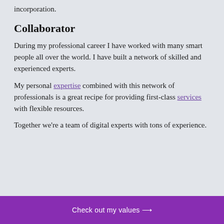incorporation.
Collaborator
During my professional career I have worked with many smart people all over the world. I have built a network of skilled and experienced experts.
My personal expertise combined with this network of professionals is a great recipe for providing first-class services with flexible resources.
Together we're a team of digital experts with tons of experience.
Check out my values ⟶